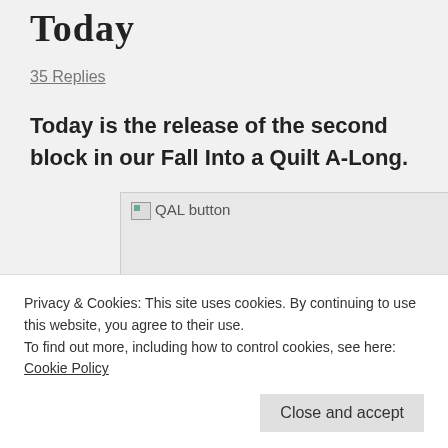Today
35 Replies
Today is the release of the second block in our Fall Into a Quilt A-Long.
[Figure (photo): QAL button image (broken/not loaded), showing placeholder with alt text 'QAL button']
Privacy & Cookies: This site uses cookies. By continuing to use this website, you agree to their use.
To find out more, including how to control cookies, see here: Cookie Policy
Close and accept